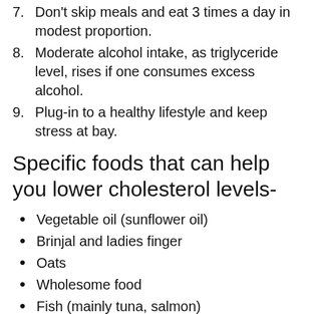7. Don't skip meals and eat 3 times a day in modest proportion.
8. Moderate alcohol intake, as triglyceride level, rises if one consumes excess alcohol.
9. Plug-in to a healthy lifestyle and keep stress at bay.
Specific foods that can help you lower cholesterol levels-
Vegetable oil (sunflower oil)
Brinjal and ladies finger
Oats
Wholesome food
Fish (mainly tuna, salmon)
Nuts